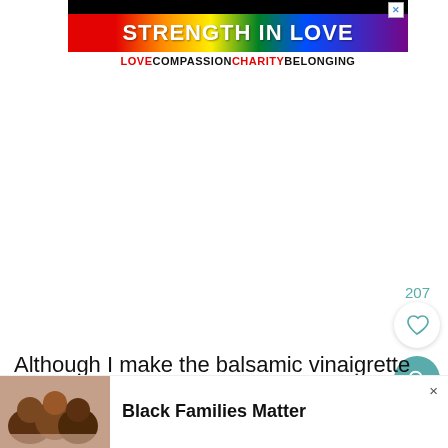[Figure (other): Advertisement banner with rainbow background reading STRENGTH IN LOVE with tagline LOVE COMPASSION CHARITY BELONGING]
207
Although I make the balsamic vinaigrette several days in advance.
[Figure (other): Advertisement for Black Families Matter with photo of smiling family members]